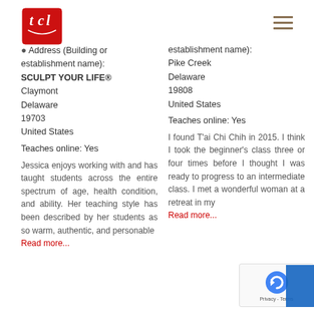[Figure (logo): TCL logo — red square with white cursive letters TCL]
[Figure (other): Hamburger menu icon (three horizontal lines, dark gold color)]
Address (Building or establishment name):
SCULPT YOUR LIFE®
Claymont
Delaware
19703
United States
Teaches online: Yes
Jessica enjoys working with and has taught students across the entire spectrum of age, health condition, and ability. Her teaching style has been described by her students as so warm, authentic, and personable
Read more...
establishment name):
Pike Creek
Delaware
19808
United States
Teaches online: Yes
I found T'ai Chi Chih in 2015. I think I took the beginner's class three or four times before I thought I was ready to progress to an intermediate class. I met a wonderful woman at a retreat in my
Read more...
[Figure (other): reCAPTCHA privacy badge]